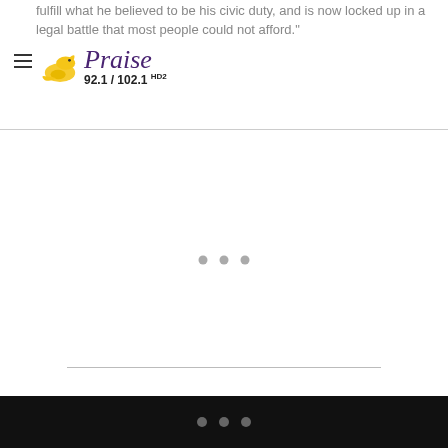fulfill what he believed to be his civic duty, and is now locked up in a legal battle that most people could not afford.
[Figure (logo): Praise 92.1 / 102.1 HD2 radio station logo with a yellow dove bird icon and purple italic text]
[Figure (other): Advertisement placeholder area with three grey dots and a horizontal divider line]
Decades in jail sounds a bit extreme given the circumstances,